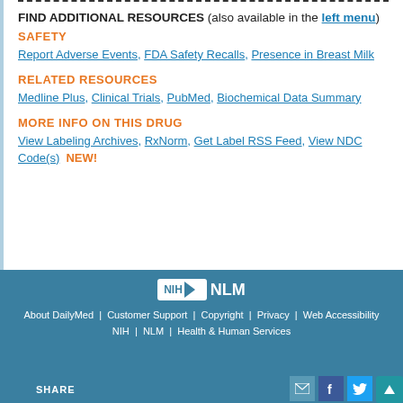FIND ADDITIONAL RESOURCES (also available in the left menu)
SAFETY
Report Adverse Events, FDA Safety Recalls, Presence in Breast Milk
RELATED RESOURCES
Medline Plus, Clinical Trials, PubMed, Biochemical Data Summary
MORE INFO ON THIS DRUG
View Labeling Archives, RxNorm, Get Label RSS Feed, View NDC Code(s)  NEW!
NIH NLM | About DailyMed | Customer Support | Copyright | Privacy | Web Accessibility | NIH | NLM | Health & Human Services | SHARE